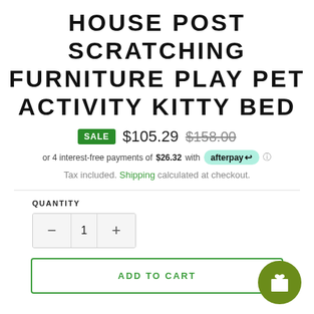HOUSE POST SCRATCHING FURNITURE PLAY PET ACTIVITY KITTY BED
SALE $105.29 $158.00
or 4 interest-free payments of $26.32 with afterpay
Tax included. Shipping calculated at checkout.
QUANTITY
- 1 +
ADD TO CART